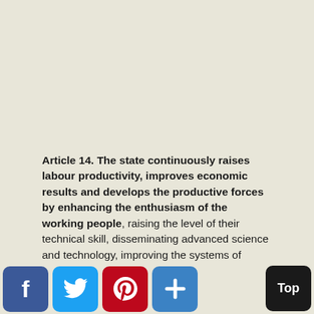Article 14. The state continuously raises labour productivity, improves economic results and develops the productive forces by enhancing the enthusiasm of the working people, raising the level of their technical skill, disseminating advanced science and technology, improving the systems of economic administration and enterprise operation and management, instituting the socialist system of responsibility in various forms and improving organization of work. The strict economy and combats properly apportions